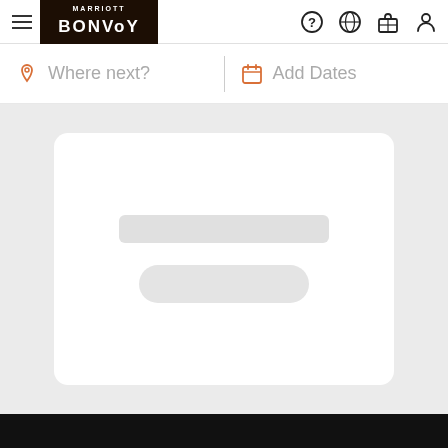Marriott Bonvoy navigation bar with hamburger menu, logo, help icon, globe icon, luggage icon, and person icon
Where next?
Add Dates
[Figure (screenshot): Loading skeleton card UI with two placeholder bars on white card over light gray background]
Dark footer bar